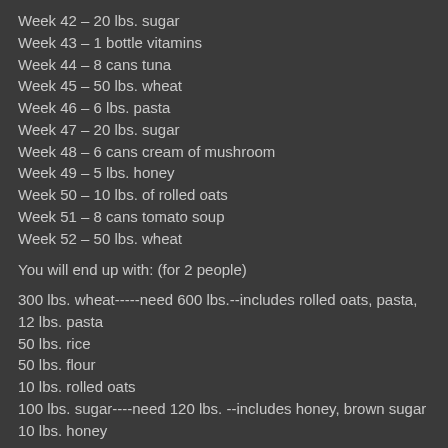Week 42 – 20 lbs. sugar
Week 43 – 1 bottle vitamins
Week 44 – 8 cans tuna
Week 45 – 50 lbs. wheat
Week 46 – 6 lbs. pasta
Week 47 – 20 lbs. sugar
Week 48 – 6 cans cream of mushroom
Week 49 – 5 lbs. honey
Week 50 – 10 lbs. of rolled oats
Week 51 – 8 cans tomato soup
Week 52 – 50 lbs. wheat
You will end up with: (for 2 people)
300 lbs. wheat-----need 600 lbs.--includes rolled oats, pasta,
12 lbs. pasta
50 lbs. rice
50 lbs. flour
10 lbs. rolled oats
100 lbs. sugar----need 120 lbs. --includes honey, brown sugar
10 lbs. honey